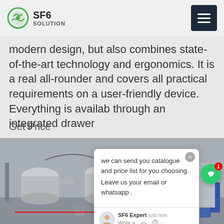SF6 SOLUTION
modern design, but also combines state-of-the-art technology and ergonomics. It is a real all-rounder and covers all practical requirements on a user-friendly device. Everything is available through an integrated drawer
Get Price
[Figure (photo): Outdoor industrial SF6 gas equipment, large grey cylindrical tanks and pipes at a substation or industrial facility]
[Figure (screenshot): Chat popup widget showing message: 'we can send you catalogue and price list for you choosing. Leave us your email or whatsapp .' From SF6 Expert, just now. Write a message input area with like and attachment icons.]